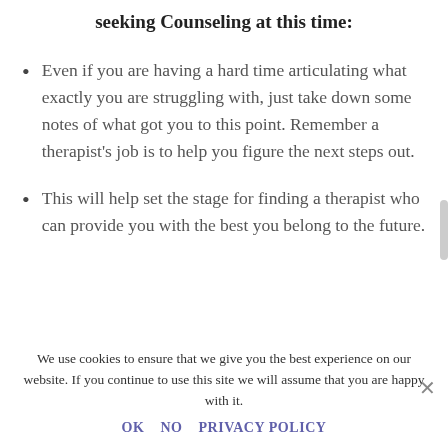seeking Counseling at this time:
Even if you are having a hard time articulating what exactly you are struggling with, just take down some notes of what got you to this point. Remember a therapist's job is to help you figure the next steps out.
This will help set the stage for finding a therapist who can provide you with the best you belong to the future.
We use cookies to ensure that we give you the best experience on our website. If you continue to use this site we will assume that you are happy with it.
OK   NO   PRIVACY POLICY